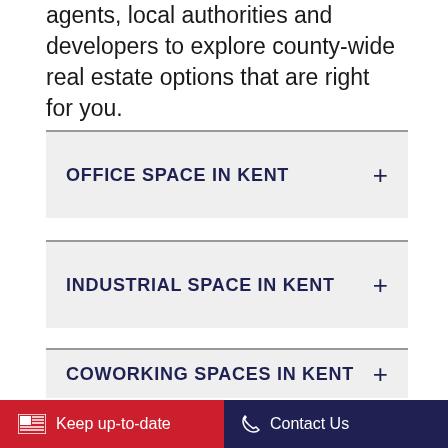agents, local authorities and developers to explore county-wide real estate options that are right for you.
OFFICE SPACE IN KENT +
INDUSTRIAL SPACE IN KENT +
COWORKING SPACES IN KENT +
Keep up-to-date   Contact Us